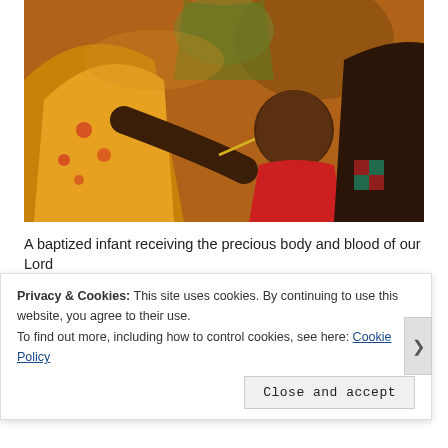[Figure (photo): A priest in golden vestments administering communion (the Eucharist) with a small spoon to a young infant/toddler in a red garment, held by a woman. A second person in vestments is visible in the background.]
A baptized infant receiving the precious body and blood of our Lord
When done in sincerity, any form of Communion, Eucharist, of the
Privacy & Cookies: This site uses cookies. By continuing to use this website, you agree to their use.
To find out more, including how to control cookies, see here: Cookie Policy
Close and accept